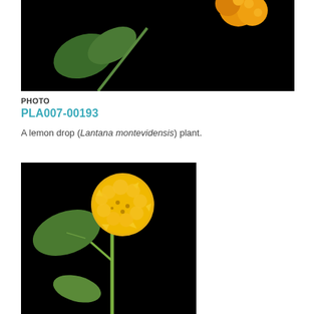[Figure (photo): A lemon drop (Lantana montevidensis) plant against a black background, showing green leaves and yellow/orange flowers at top.]
PHOTO
PLA007-00193
A lemon drop (Lantana montevidensis) plant.
[Figure (photo): A close-up photograph of a lemon drop (Lantana montevidensis) plant against a black background, showing a round yellow flower cluster on a green stem with green leaves.]